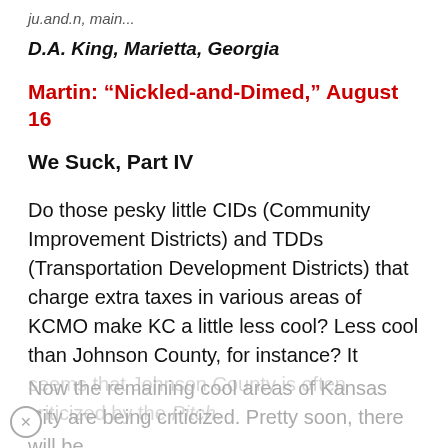ju.and.n, main...
D.A. King, Marietta, Georgia
Martin: “Nickled-and-Dimed,” August 16
We Suck, Part IV
Do those pesky little CIDs (Community Improvement Districts) and TDDs (Transportation Development Districts) that charge extra taxes in various areas of KCMO make KC a little less cool? Less cool than Johnson County, for instance? It seems that Johnson County is often criticized by the Pitch.
Now the remaining cool areas of Kansas City are being criticized. Pretty soon, there will be